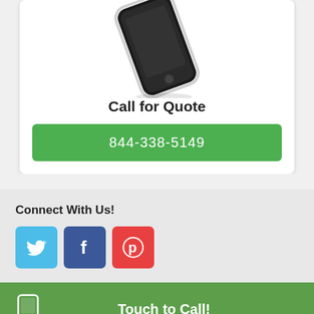[Figure (illustration): Partial view of a smartphone (black iPhone-style device) shown at an angle from above, with a white border.]
Call for Quote
844-338-5149
Connect With Us!
[Figure (infographic): Three social media icons in colored rounded squares: Twitter (blue bird), Facebook (blue f), Pinterest (red P)]
Touch to Call!